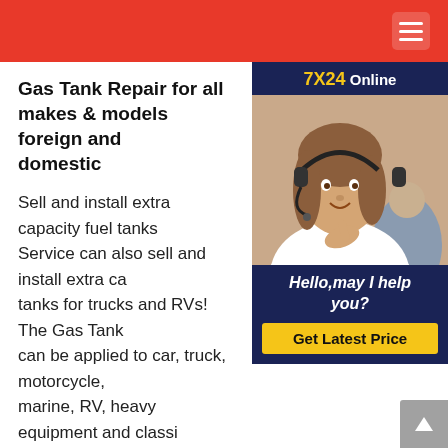Gas Tank Repair for all makes & models foreign and domestic
Sell and install extra capacity fuel tanks. Service can also sell and install extra capacity tanks for trucks and RVs! The Gas Tank can be applied to car, truck, motorcycle, marine, RV, heavy equipment and classic almost any metal or aluminum tank no matter how rusted or rotten.Gasoline / Fuel Trucks For Sale MyLittleSalesmanAug 17, 20202005 International MA205 Fuel Truck - Test Dates 8/15 IP 8/16VK - 1995 Harmon Tank 2450 Gal - 4 Comp (800,700,550,400) - Steel Tank - 364697 Miles - DT466BB Engine - 245 HP Gates Fuel Tanks for BMW M3 for sale Get the best
[Figure (photo): Customer service representative wearing a headset, smiling. Sidebar widget with dark blue background, '7X24 Online' header in yellow and white, photo of agent, 'Hello,may I help you?' text, and 'Get Latest Price' yellow button.]